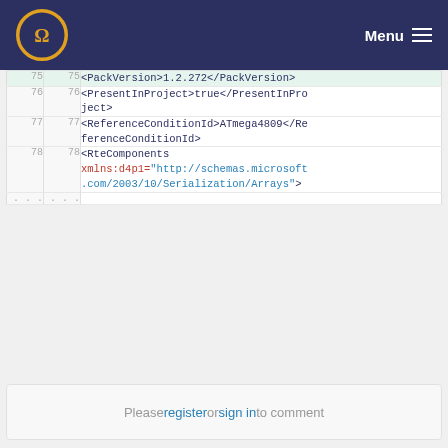Menu
[Figure (screenshot): Code diff view showing XML lines 75-78 with line numbers on left and right columns. Line 75 highlighted in green shows <PackVersion>1.2.272</PackVersion>. Line 76 shows <PresentInProject>true</PresentInProject>. Line 77 shows <ReferenceConditionId>ATmega4809</ReferenceConditionId>. Line 78 shows <RteComponents with xmlns:d4p1 attribute pointing to http://schemas.microsoft.com/2003/10/Serialization/Arrays>.]
Please register or sign in to comment